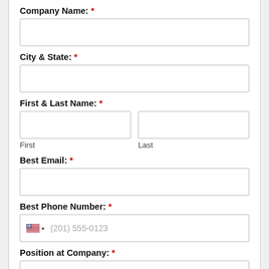Company Name: *
City & State: *
First & Last Name: *
First
Last
Best Email: *
Best Phone Number: *
Position at Company: *